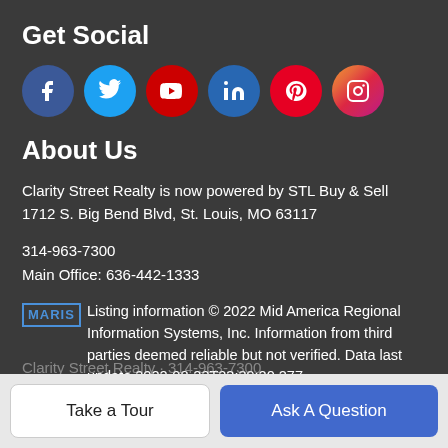Get Social
[Figure (infographic): Row of 6 social media icons: Facebook (dark blue circle), Twitter (light blue circle), YouTube (red circle), LinkedIn (dark blue circle), Pinterest (red circle), Instagram (pink/magenta circle)]
About Us
Clarity Street Realty is now powered by STL Buy & Sell
1712 S. Big Bend Blvd, St. Louis, MO 63117
314-963-7300
Main Office: 636-442-1333
MARIS Listing information © 2022 Mid America Regional Information Systems, Inc. Information from third parties deemed reliable but not verified. Data last update 2022-08-23T23:39:20.277.
Clarity Street Realty · 314-963-7300
Take a Tour
Ask A Question